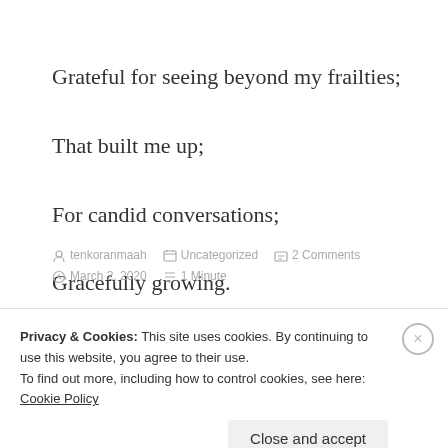Grateful for seeing beyond my frailties;
That built me up;
For candid conversations;
Gracefully growing.
tenkoranmaah   Uncategorized   2 Comments   March 2, 2020   1 Minute
Privacy & Cookies: This site uses cookies. By continuing to use this website, you agree to their use. To find out more, including how to control cookies, see here: Cookie Policy
Close and accept